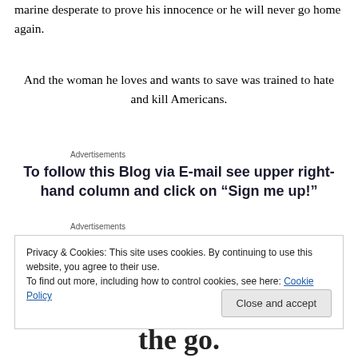marine desperate to prove his innocence or he will never go home again.
And the woman he loves and wants to save was trained to hate and kill Americans.
Advertisements
To follow this Blog via E-mail see upper right-hand column and click on “Sign me up!”
Advertisements
Privacy & Cookies: This site uses cookies. By continuing to use this website, you agree to their use.
To find out more, including how to control cookies, see here: Cookie Policy
the go.